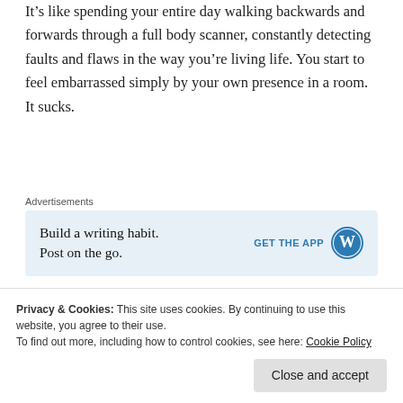It's like spending your entire day walking backwards and forwards through a full body scanner, constantly detecting faults and flaws in the way you're living life. You start to feel embarrassed simply by your own presence in a room. It sucks.
Advertisements
[Figure (other): WordPress advertisement banner: 'Build a writing habit. Post on the go.' with GET THE APP button and WordPress logo]
Writing is particularly difficult for me because it's what
Privacy & Cookies: This site uses cookies. By continuing to use this website, you agree to their use.
To find out more, including how to control cookies, see here: Cookie Policy
Close and accept
head someone's wondering: 'What the hell is she on